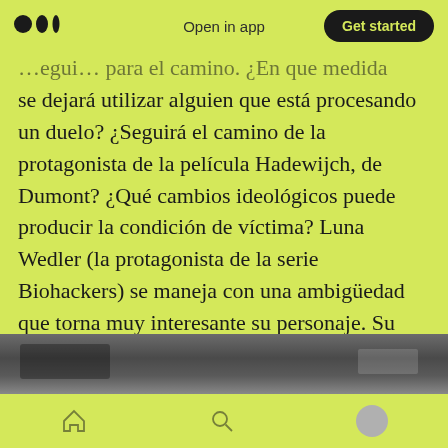Open in app | Get started
…egui… para el camino. ¿En que medida se dejará utilizar alguien que está procesando un duelo? ¿Seguirá el camino de la protagonista de la película Hadewijch, de Dumont? ¿Qué cambios ideológicos puede producir la condición de víctima? Luna Wedler (la protagonista de la serie Biohackers) se maneja con una ambigüedad que torna muy interesante su personaje. Su contracara es Alex, su padre (gran actuación de Milan Peschel), que tiene otras maneras de procesar un duelo que los distanciará.
[Figure (photo): Partial view of a photograph showing an indoor scene, clipped at the bottom of the page.]
Home | Search | Profile